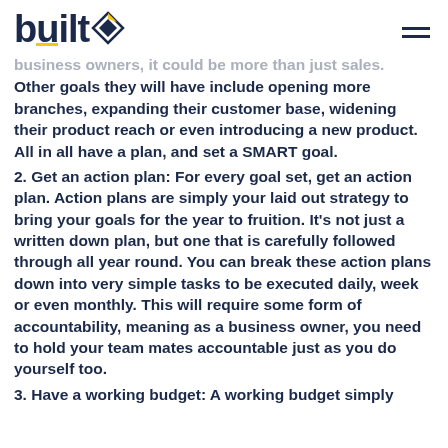built+ [logo]
business owners, it could be more than just sales. Other goals they will have include opening more branches, expanding their customer base, widening their product reach or even introducing a new product. All in all have a plan, and set a SMART goal.
2. Get an action plan: For every goal set, get an action plan. Action plans are simply your laid out strategy to bring your goals for the year to fruition. It's not just a written down plan, but one that is carefully followed through all year round. You can break these action plans down into very simple tasks to be executed daily, week or even monthly. This will require some form of accountability, meaning as a business owner, you need to hold your team mates accountable just as you do yourself too.
3. Have a working budget: A working budget simply